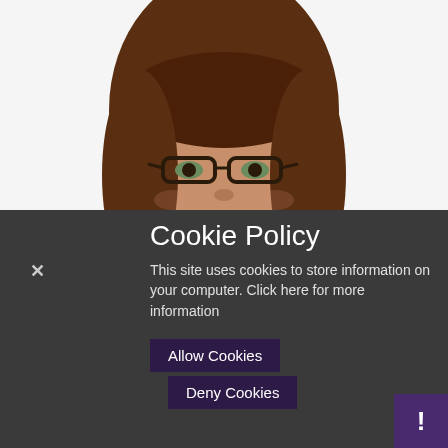[Figure (photo): Portrait photo of a smiling woman with long dark brown hair and bangs, wearing rectangular dark-framed glasses, against a white background.]
Cookie Policy
This site uses cookies to store information on your computer. Click here for more information
Allow Cookies
Deny Cookies